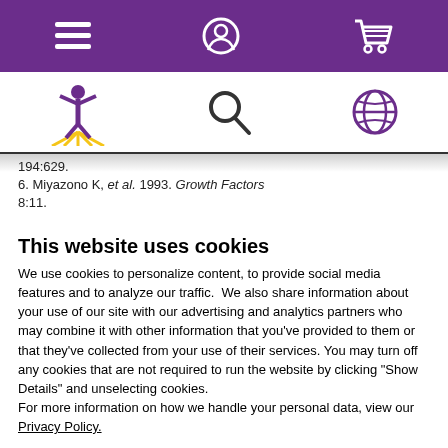[Figure (screenshot): Purple navigation bar with hamburger menu icon, user/account icon, and shopping cart icon in white]
[Figure (screenshot): White secondary navigation bar with a yellow/purple figure logo on left, search magnifier icon in center, and globe/language icon on right]
194:629.
6. Miyazono K, et al. 1993. Growth Factors 8:11.
This website uses cookies
We use cookies to personalize content, to provide social media features and to analyze our traffic.  We also share information about your use of our site with our advertising and analytics partners who may combine it with other information that you've provided to them or that they've collected from your use of their services. You may turn off any cookies that are not required to run the website by clicking “Show Details” and unselecting cookies.
For more information on how we handle your personal data, view our Privacy Policy.
OK
Settings